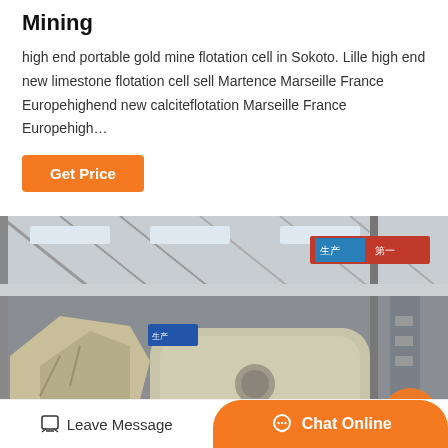Mining
high end portable gold mine flotation cell in Sokoto. Lille high end new limestone flotation cell sell Martence Marseille France Europehighend new calciteflotation Marseille France Europehigh…
[Figure (photo): Industrial mining machinery inside a large factory warehouse. Heavy equipment including crusher/processing units on the factory floor with structural steel framework overhead and Chinese signage visible.]
Leave Message | Chat Online